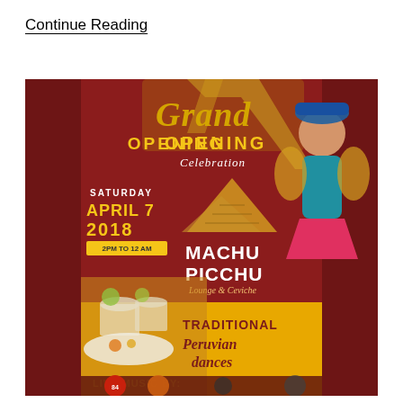Continue Reading
[Figure (photo): Grand Opening Celebration flyer for Machu Picchu Lounge & Ceviche. Saturday April 7 2018, 2PM to 12AM. Features Traditional Peruvian Dances. Live Music By. Shows a woman in traditional Peruvian dance costume, food photos including ceviche and drinks, on a dark red/gold background.]